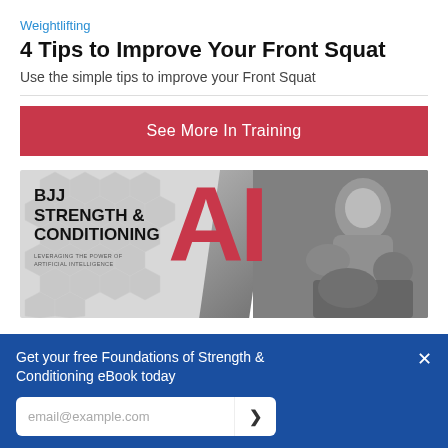Weightlifting
4 Tips to Improve Your Front Squat
Use the simple tips to improve your Front Squat
See More In Training
[Figure (illustration): BJJ Strength & Conditioning AI banner ad with large red AI letters, bold black text, hexagonal gray background, and a grayscale photo of two BJJ fighters grappling. Text reads: BJJ STRENGTH & CONDITIONING AI — LEVERAGING THE POWER OF ARTIFICIAL INTELLIGENCE]
Get your free Foundations of Strength & Conditioning eBook today
email@example.com